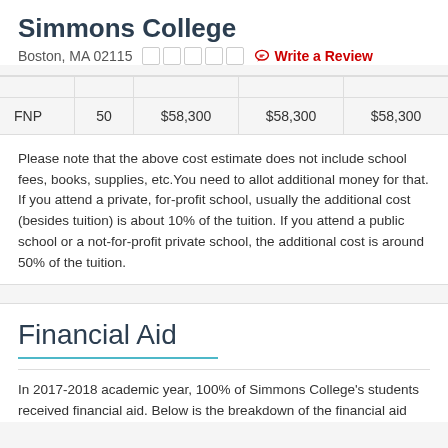Simmons College
Boston, MA 02115  ☆☆☆☆☆  Write a Review
|  |  |  |  |  |
| --- | --- | --- | --- | --- |
| FNP | 50 | $58,300 | $58,300 | $58,300 |
Please note that the above cost estimate does not include school fees, books, supplies, etc.You need to allot additional money for that. If you attend a private, for-profit school, usually the additional cost (besides tuition) is about 10% of the tuition. If you attend a public school or a not-for-profit private school, the additional cost is around 50% of the tuition.
Financial Aid
In 2017-2018 academic year, 100% of Simmons College's students received financial aid. Below is the breakdown of the financial aid